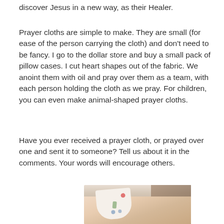discover Jesus in a new way, as their Healer.
Prayer cloths are simple to make. They are small (for ease of the person carrying the cloth) and don't need to be fancy. I go to the dollar store and buy a small pack of pillow cases. I cut heart shapes out of the fabric. We anoint them with oil and pray over them as a team, with each person holding the cloth as we pray. For children, you can even make animal-shaped prayer cloths.
Have you ever received a prayer cloth, or prayed over one and sent it to someone? Tell us about it in the comments. Your words will encourage others.
[Figure (photo): A hand holding a small heart-shaped fabric prayer cloth with floral print pattern, against a dark wooden background.]